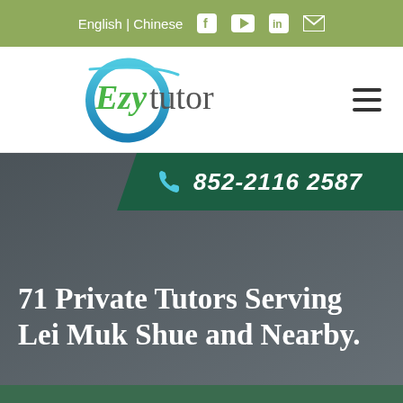English | Chinese  f  ▶  in  ✉
[Figure (logo): Ezytutor logo with cyan arc and green Ezy text]
852-2116 2587
71 Private Tutors Serving Lei Muk Shue and Nearby.